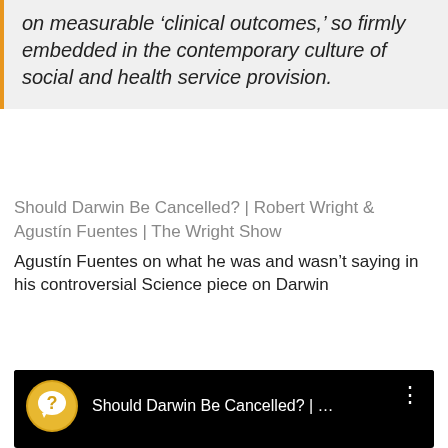on measurable 'clinical outcomes,' so firmly embedded in the contemporary culture of social and health service provision.
Should Darwin Be Cancelled? | Robert Wright & Agustín Fuentes | The Wright Show
Agustín Fuentes on what he was and wasn't saying in his controversial Science piece on Darwin
[Figure (screenshot): YouTube video thumbnail with black background, showing a circular icon with a question mark speech bubble in gold/yellow, and the title 'Should Darwin Be Cancelled? | ...' in white text, with a three-dot menu icon on the right.]